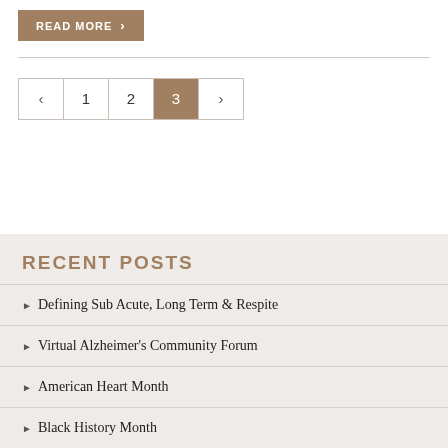READ MORE ›
‹ 1 2 3 ›
RECENT POSTS
Defining Sub Acute, Long Term & Respite
Virtual Alzheimer's Community Forum
American Heart Month
Black History Month